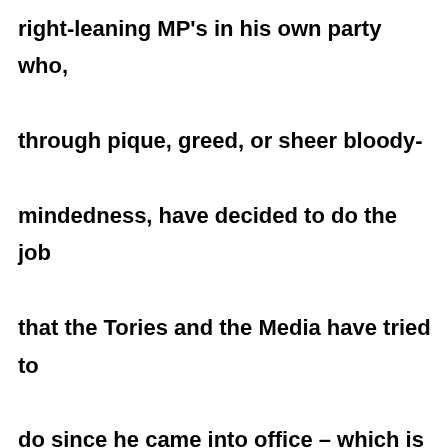right-leaning MP's in his own party who, through pique, greed, or sheer bloody-mindedness, have decided to do the job that the Tories and the Media have tried to do since he came into office – which is to try and get rid of him.

The Reason?

Because Jeremy Corbyn has got the fire,